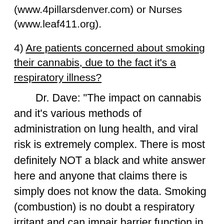(www.4pillarsdenver.com) or Nurses (www.leaf411.org).
4) Are patients concerned about smoking their cannabis, due to the fact it's a respiratory illness?
Dr. Dave: "The impact on cannabis and it's various methods of administration on lung health, and viral risk is extremely complex. There is most definitely NOT a black and white answer here and anyone that claims there is simply does not know the data. Smoking (combustion) is no doubt a respiratory irritant and can impair barrier function in the lungs, thus potentially increasing your risk of acquiring an infection...Regardless of how you consume cannabis, there are a variety of potential impacts on COVID-19 infection. Cannabis compounds are extremely effective anti-inflammatory medications which means they reduce our immune system response. That immune response is how we initially fight off viruses. Thus, in theory, cannabinoids could increase risk of acquiring infection. Alternatively, an overactive immune response is what causes most of the